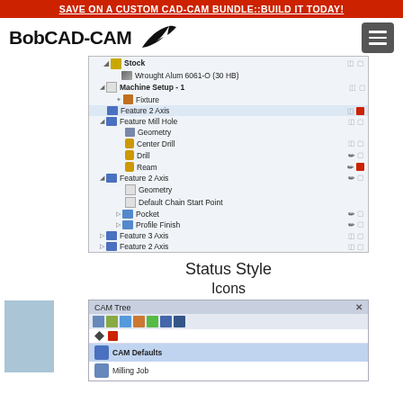SAVE ON A CUSTOM CAD-CAM BUNDLE::BUILD IT TODAY!
[Figure (logo): BobCAD-CAM logo with bird silhouette and hamburger menu icon]
[Figure (screenshot): CAM Tree panel showing hierarchy: Stock, Wrought Alum 6061-O (30 HB), Machine Setup - 1, Fixture, Feature 2 Axis, Feature Mill Hole with Geometry/Center Drill/Drill/Ream, Feature 2 Axis with Geometry/Default Chain Start Point/Pocket/Profile Finish, Feature 3 Axis, Feature 2 Axis]
Status Style
Icons
[Figure (screenshot): CAM Tree panel bottom showing toolbar icons, pen and red square status icons, CAM Defaults row highlighted in blue, Milling Job row below]